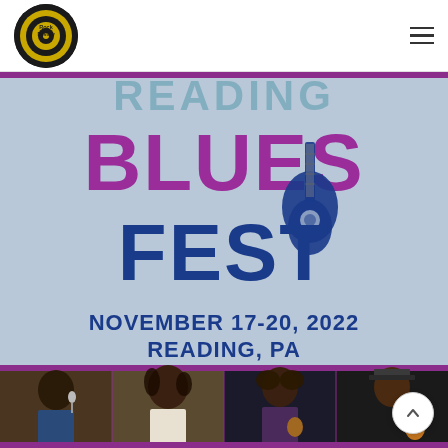Classic Rock Review (logo) and hamburger menu
[Figure (illustration): Reading Blues Fest promotional poster showing 'READING BLUES FEST NOVEMBER 17-20, 2022 READING, PA' with large stylized typography in purple and blue on a light blue/grey background, and four performer photos at the bottom.]